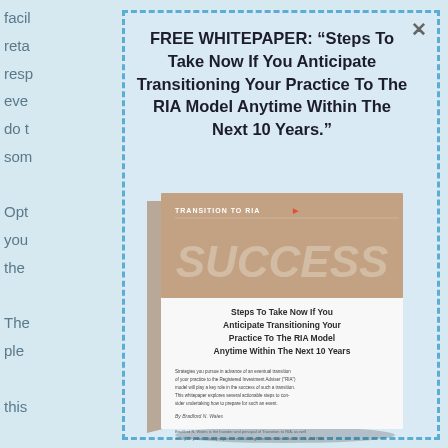facil
reta
resp
eve
do t
som
Opt
you
the
The
ple
this
FREE WHITEPAPER: “Steps To Take Now If You Anticipate Transitioning Your Practice To The RIA Model Anytime Within The Next 10 Years.”
[Figure (illustration): A tilted white booklet/whitepaper with a brown/tan cover header reading 'TRANSITION TO RIA' and 'SUCCESS', with subtitle text 'Steps To Take Now If You Anticipate Transitioning Your Practice To The RIA Model Anytime Within The Next 10 Years' and body text and author byline 'By Bradford N. Wales'.]